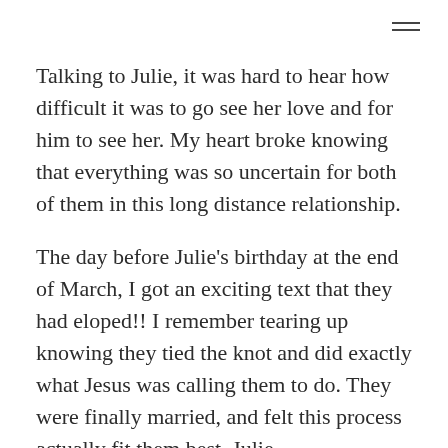Talking to Julie, it was hard to hear how difficult it was to go see her love and for him to see her. My heart broke knowing that everything was so uncertain for both of them in this long distance relationship.
The day before Julie's birthday at the end of March, I got an exciting text that they had eloped!! I remember tearing up knowing they tied the knot and did exactly what Jesus was calling them to do. They were finally married, and felt this process actually fit them best. Julie